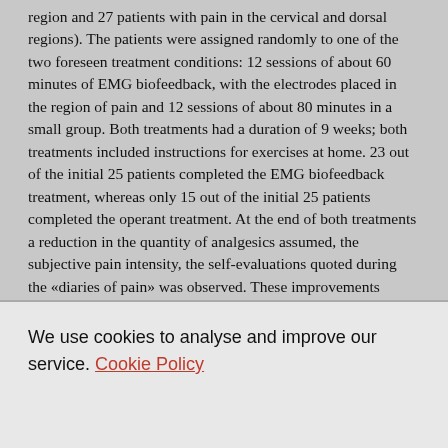region and 27 patients with pain in the cervical and dorsal regions). The patients were assigned randomly to one of the two foreseen treatment conditions: 12 sessions of about 60 minutes of EMG biofeedback, with the electrodes placed in the region of pain and 12 sessions of about 80 minutes in a small group. Both treatments had a duration of 9 weeks; both treatments included instructions for exercises at home. 23 out of the initial 25 patients completed the EMG biofeedback treatment, whereas only 15 out of the initial 25 patients completed the operant treatment. At the end of both treatments a reduction in the quantity of analgesics assumed, the subjective pain intensity, the self-evaluations quoted during the «diaries of pain» was observed. These improvements continued at the 1-month and at the 6-month follow-ups. However, no changes in the psychophysiological variables (stress profile) were recorded. Successful prognostic variables in the biofeedback training scored low on the «solicitous responses» scale and scored high on the «life control» scale of the Multidimensional Pain
We use cookies to analyse and improve our service. Cookie Policy